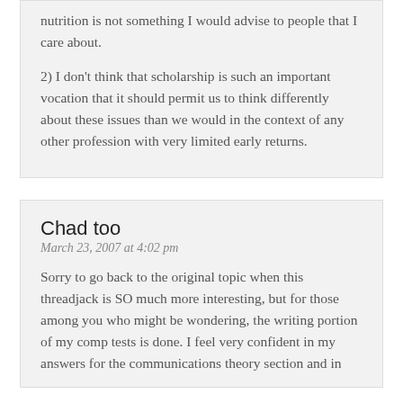nutrition is not something I would advise to people that I care about.
2) I don't think that scholarship is such an important vocation that it should permit us to think differently about these issues than we would in the context of any other profession with very limited early returns.
Chad too
March 23, 2007 at 4:02 pm
Sorry to go back to the original topic when this threadjack is SO much more interesting, but for those among you who might be wondering, the writing portion of my comp tests is done. I feel very confident in my answers for the communications theory section and in